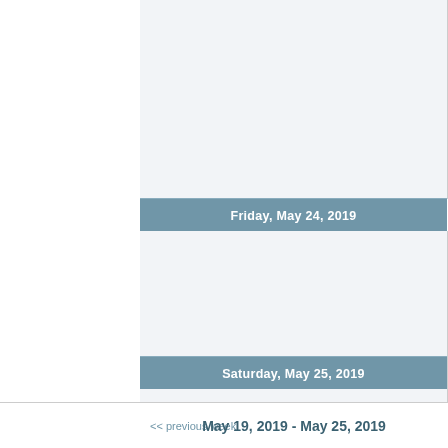Friday, May 24, 2019
Saturday, May 25, 2019
<< previous week    May 19, 2019 - May 25, 2019